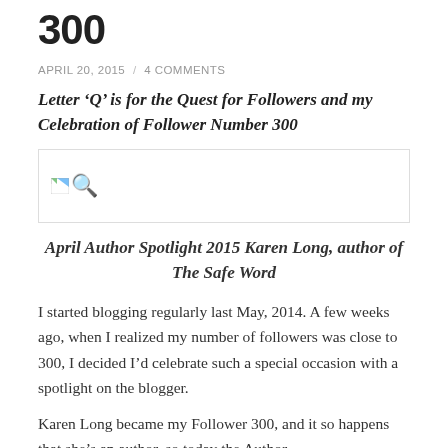300
APRIL 20, 2015 / 4 COMMENTS
Letter ‘Q’ is for the Quest for Followers and my Celebration of Follower Number 300
[Figure (other): Broken image placeholder with a red Q search icon]
April Author Spotlight 2015 Karen Long, author of The Safe Word
I started blogging regularly last May, 2014. A few weeks ago, when I realized my number of followers was close to 300, I decided I’d celebrate such a special occasion with a spotlight on the blogger.
Karen Long became my Follower 300, and it so happens that she’s an author, so today the Author